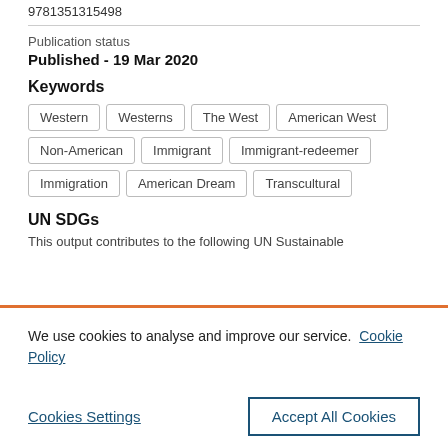9781351315498
Publication status
Published - 19 Mar 2020
Keywords
Western
Westerns
The West
American West
Non-American
Immigrant
Immigrant-redeemer
Immigration
American Dream
Transcultural
UN SDGs
This output contributes to the following UN Sustainable
We use cookies to analyse and improve our service. Cookie Policy
Cookies Settings
Accept All Cookies